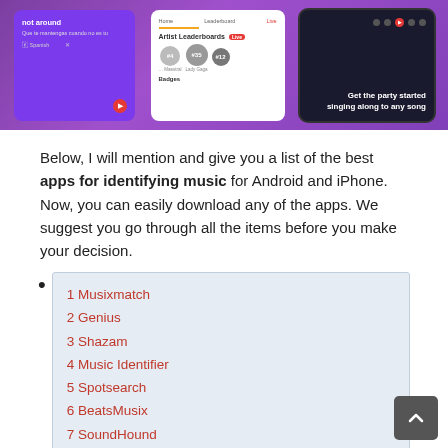[Figure (screenshot): App store screenshots showing Musixmatch app features: lyrics translation screen, artist leaderboards screen, and a party/karaoke screen with controls on a dark background. Purple themed UI.]
Below, I will mention and give you a list of the best apps for identifying music for Android and iPhone. Now, you can easily download any of the apps. We suggest you go through all the items before you make your decision.
1 Musixmatch
2 Genius
3 Shazam
4 Music Identifier
5 Spotsearch
6 BeatsMusix
7 SoundHound
8 C1 – Music Identifier App
9 Birdsong ID